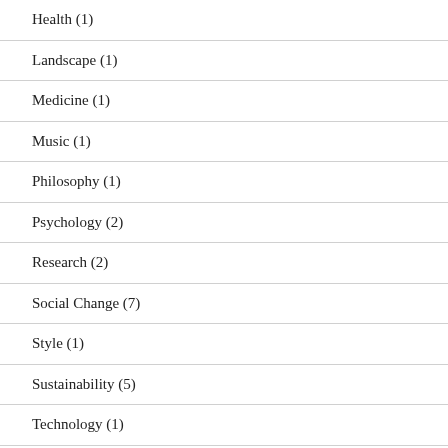Health (1)
Landscape (1)
Medicine (1)
Music (1)
Philosophy (1)
Psychology (2)
Research (2)
Social Change (7)
Style (1)
Sustainability (5)
Technology (1)